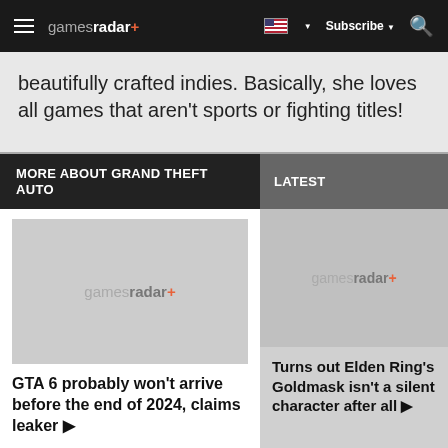gamesradar+  Subscribe
beautifully crafted indies. Basically, she loves all games that aren't sports or fighting titles!
MORE ABOUT GRAND THEFT AUTO
LATEST
[Figure (logo): gamesradar+ placeholder image for GTA 6 article]
GTA 6 probably won't arrive before the end of 2024, claims leaker ▶
[Figure (logo): gamesradar+ placeholder image for Elden Ring article]
Turns out Elden Ring's Goldmask isn't a silent character after all ▶